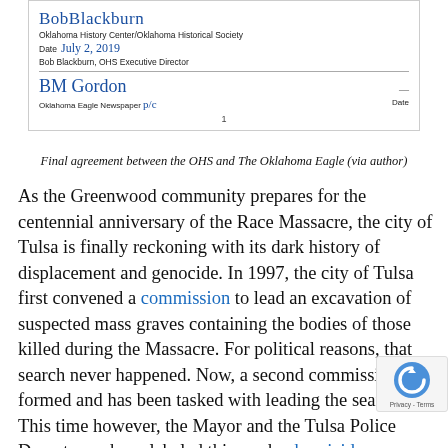[Figure (photo): Scanned document showing two signatures on an agreement. First signature in blue handwriting above text reading 'Oklahoma History Center/Oklahoma Historical Society', 'Date July 2, 2019', 'Bob Blackburn, OHS Executive Director'. Second signature in blue handwriting above text reading 'Oklahoma Eagle Newspaper' with a handwritten addition, and 'Date' on the right. A page number '1' is shown at the bottom center.]
Final agreement between the OHS and The Oklahoma Eagle (via author)
As the Greenwood community prepares for the centennial anniversary of the Race Massacre, the city of Tulsa is finally reckoning with its dark history of displacement and genocide. In 1997, the city of Tulsa first convened a commission to lead an excavation of suspected mass graves containing the bodies of those killed during the Massacre. For political reasons, that search never happened. Now, a second commission has formed and has been tasked with leading the search. This time however, the Mayor and the Tulsa Police Department have labeled this work a homicide investigation. Working